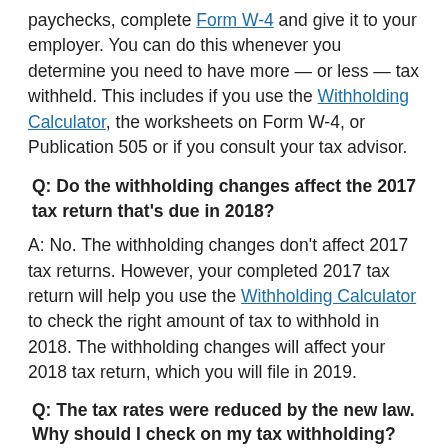paychecks, complete Form W-4 and give it to your employer. You can do this whenever you determine you need to have more — or less — tax withheld. This includes if you use the Withholding Calculator, the worksheets on Form W-4, or Publication 505 or if you consult your tax advisor.
Q: Do the withholding changes affect the 2017 tax return that's due in 2018?
A: No. The withholding changes don't affect 2017 tax returns. However, your completed 2017 tax return will help you use the Withholding Calculator to check the right amount of tax to withhold in 2018. The withholding changes will affect your 2018 tax return, which you will file in 2019.
Q: The tax rates were reduced by the new law. Why should I check on my tax withholding?
A: New withholding tables that were released in January